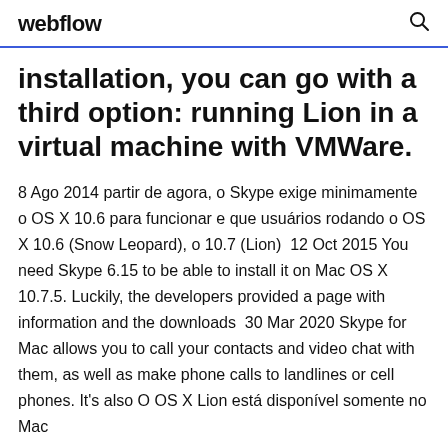webflow
installation, you can go with a third option: running Lion in a virtual machine with VMWare.
8 Ago 2014 partir de agora, o Skype exige minimamente o OS X 10.6 para funcionar e que usuários rodando o OS X 10.6 (Snow Leopard), o 10.7 (Lion)  12 Oct 2015 You need Skype 6.15 to be able to install it on Mac OS X 10.7.5. Luckily, the developers provided a page with information and the downloads  30 Mar 2020 Skype for Mac allows you to call your contacts and video chat with them, as well as make phone calls to landlines or cell phones. It's also O OS X Lion está disponível somente no Mac